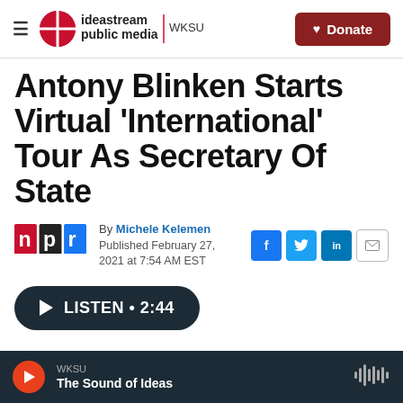ideastream public media WKSU | Donate
Antony Blinken Starts Virtual 'International' Tour As Secretary Of State
By Michele Kelemen
Published February 27, 2021 at 7:54 AM EST
LISTEN • 2:44
WKSU The Sound of Ideas